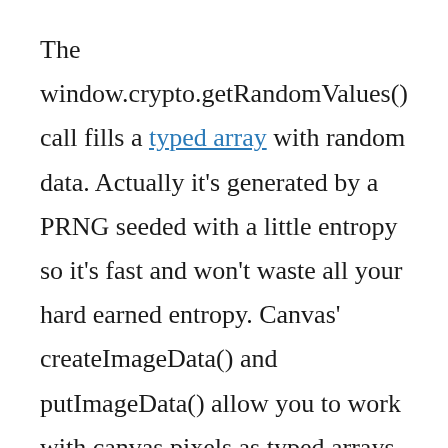The window.crypto.getRandomValues() call fills a typed array with random data. Actually it's generated by a PRNG seeded with a little entropy so it's fast and won't waste all your hard earned entropy. Canvas' createImageData() and putImageData() allow you to work with canvas pixels as typed arrays.
The only catch is that getRandomValues() only fills 64k of data. Canvas image data is